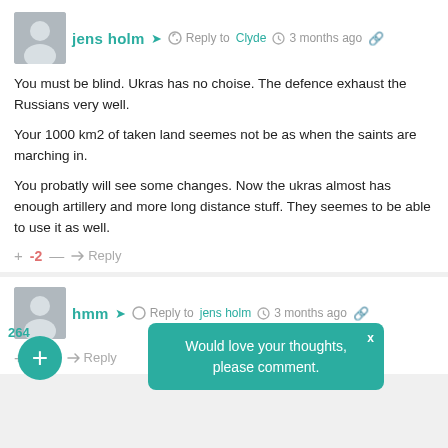[Figure (screenshot): User comment from 'jens holm' replying to Clyde, 3 months ago]
You must be blind. Ukras has no choise. The defence exhaust the Russians very well.

Your 1000 km2 of taken land seemes not be as when the saints are marching in.

You probatly will see some changes. Now the ukras almost has enough artillery and more long distance stuff. They seemes to be able to use it as well.
+ -2 — Reply
[Figure (screenshot): User comment from 'hmm' replying to jens holm, 3 months ago]
+ 5 — Reply
264
Would love your thoughts, please comment.